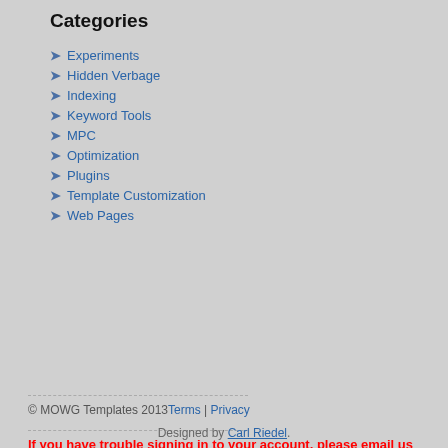Categories
Experiments
Hidden Verbage
Indexing
Keyword Tools
MPC
Optimization
Plugins
Template Customization
Web Pages
© MOWG Templates 2013 Terms | Privacy
If you have trouble signing in to your account, please email us for support.
related
Designed by Carl Riedel.